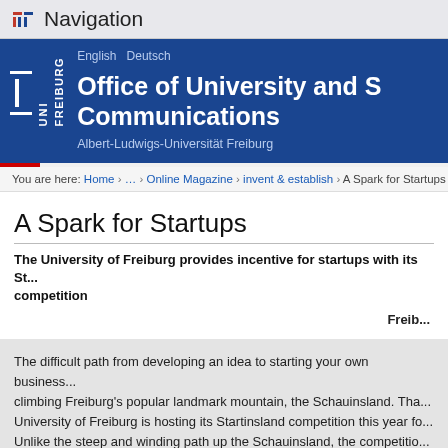Navigation
[Figure (logo): UNI FREIBURG logo in white on blue background with vertical text]
English   Deutsch
Office of University and S... Communications
Albert-Ludwigs-Universität Freiburg
You are here: Home › … › Online Magazine › invent & establish › A Spark for Startups
A Spark for Startups
The University of Freiburg provides incentive for startups with its St... competition
Freib...
The difficult path from developing an idea to starting your own business... climbing Freiburg's popular landmark mountain, the Schauinsland. Tha... University of Freiburg is hosting its Startinsland competition this year fo... Unlike the steep and winding path up the Schauinsland, the competitio... the path to starting your own business smoother and easier.